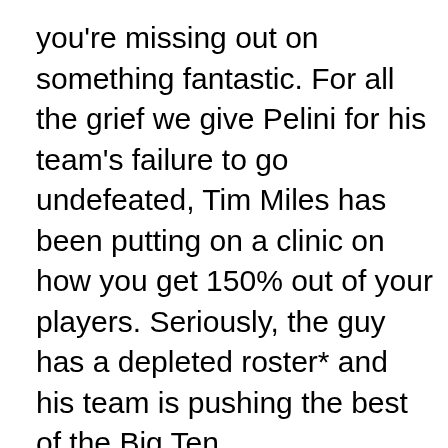you're missing out on something fantastic. For all the grief we give Pelini for his team's failure to go undefeated, Tim Miles has been putting on a clinic on how you get 150% out of your players. Seriously, the guy has a depleted roster* and his team is pushing the best of the Big Ten.